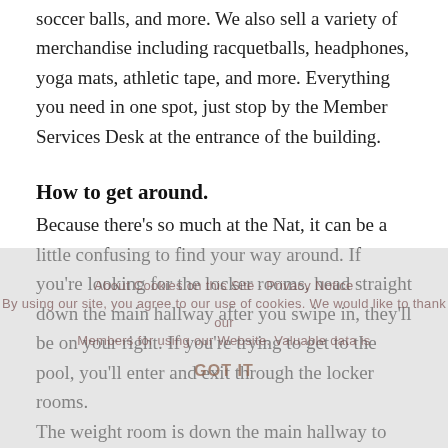soccer balls, and more. We also sell a variety of merchandise including racquetballs, headphones, yoga mats, athletic tape, and more. Everything you need in one spot, just stop by the Member Services Desk at the entrance of the building.
How to get around.
Because there's so much at the Nat, it can be a little confusing to find your way around. If you're looking for the locker rooms, head straight down the main hallway after you swipe in, they'll be on your right. If you're trying to get to the pool, you'll enter and exit through the locker rooms.
The weight room is down the main hallway to the left. If you hear clinking weights, you know you're not too far. If you're looking for the...